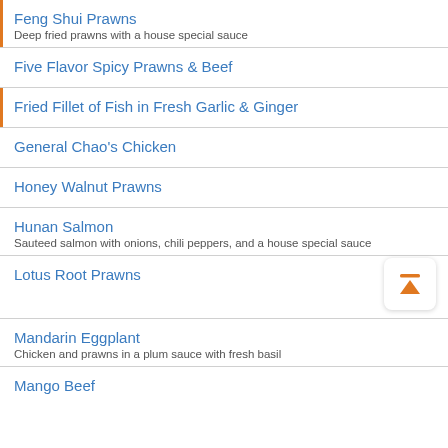Feng Shui Prawns
Deep fried prawns with a house special sauce
Five Flavor Spicy Prawns & Beef
Fried Fillet of Fish in Fresh Garlic & Ginger
General Chao's Chicken
Honey Walnut Prawns
Hunan Salmon
Sauteed salmon with onions, chili peppers, and a house special sauce
Lotus Root Prawns
Mandarin Eggplant
Chicken and prawns in a plum sauce with fresh basil
Mango Beef